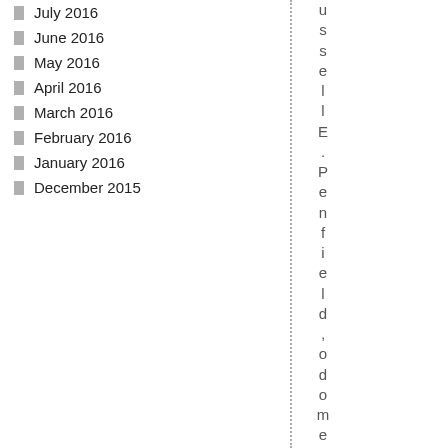July 2016
June 2016
May 2016
April 2016
March 2016
February 2016
January 2016
December 2015
ussel E. Penfield, odometer